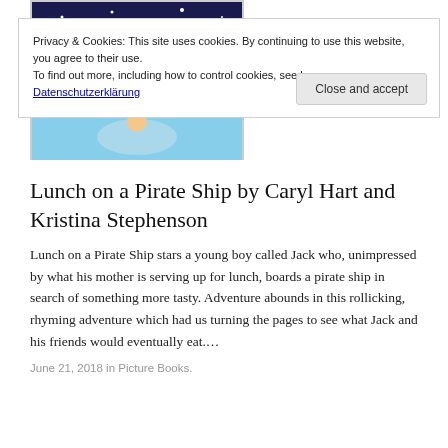[Figure (illustration): Book cover of 'Lunch on a Pirate Ship' partially visible at top, showing night sky with stars and colorful text]
Privacy & Cookies: This site uses cookies. By continuing to use this website, you agree to their use.
To find out more, including how to control cookies, see here:
Datenschutzerklärung
Close and accept
Lunch on a Pirate Ship by Caryl Hart and Kristina Stephenson
Lunch on a Pirate Ship stars a young boy called Jack who, unimpressed by what his mother is serving up for lunch, boards a pirate ship in search of something more tasty. Adventure abounds in this rollicking, rhyming adventure which had us turning the pages to see what Jack and his friends would eventually eat....
June 21, 2018 in Picture Books.